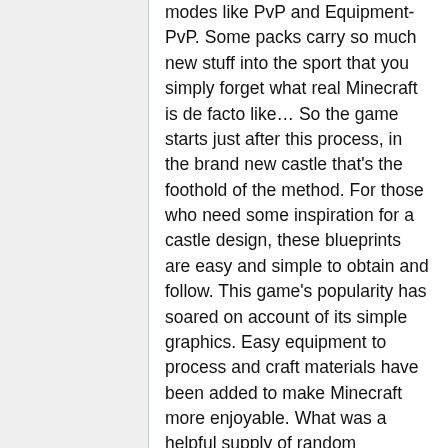modes like PvP and Equipment-PvP. Some packs carry so much new stuff into the sport that you simply forget what real Minecraft is de facto like… So the game starts just after this process, in the brand new castle that's the foothold of the method. For those who need some inspiration for a castle design, these blueprints are easy and simple to obtain and follow. This game's popularity has soared on account of its simple graphics. Easy equipment to process and craft materials have been added to make Minecraft more enjoyable. What was a helpful supply of random materials and villagers is now way more! I've spent numerous hours chipping away at blocks, gathering the mandatory materials to complete the subsequent masterpiece that might otherwise solely